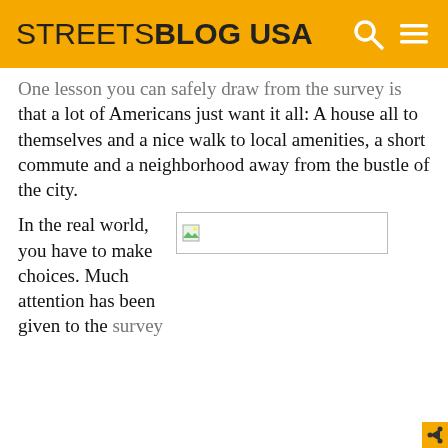STREETSBLOG USA
One lesson you can safely draw from the survey is that a lot of Americans just want it all: A house all to themselves and a nice walk to local amenities, a short commute and a neighborhood away from the bustle of the city.
In the real world, you have to make choices. Much attention has been given to the survey
[Figure (photo): Broken/missing image placeholder]
How private is private enough? Photo: ##http://www.treehugger.com/files/2008/09/congress-farm-bill.php##ilovebutter##